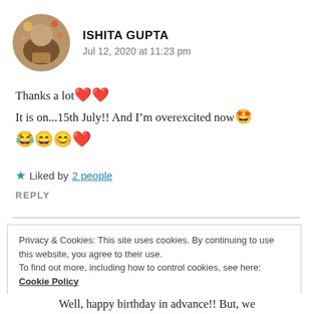[Figure (photo): Circular avatar photo of Ishita Gupta showing a person with bokeh background]
ISHITA GUPTA
Jul 12, 2020 at 11:23 pm
Thanks a lot❤️❤️
It is on...15th July!! And I'm overexcited now🤩
😂😄😊❤️
★ Liked by 2 people
REPLY
Privacy & Cookies: This site uses cookies. By continuing to use this website, you agree to their use.
To find out more, including how to control cookies, see here: Cookie Policy
Close and accept
Well, happy birthday in advance!! But, we